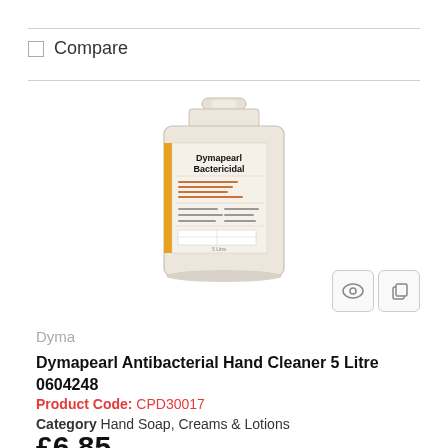Compare
[Figure (photo): 5 litre jug of Dymapearl Bactericidal hand cleaner with an orange and white label]
Dyma
Dymapearl Antibacterial Hand Cleaner 5 Litre 0604248
Product Code: CPD30017
Category Hand Soap, Creams & Lotions
£6.85